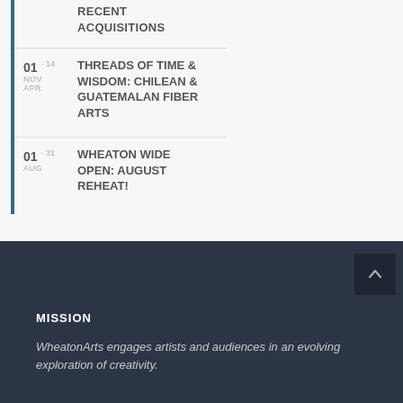RECENT ACQUISITIONS
01 - 14 NOV APR THREADS OF TIME & WISDOM: CHILEAN & GUATEMALAN FIBER ARTS
01 - 31 AUG WHEATON WIDE OPEN: AUGUST REHEAT!
MISSION
WheatonArts engages artists and audiences in an evolving exploration of creativity.